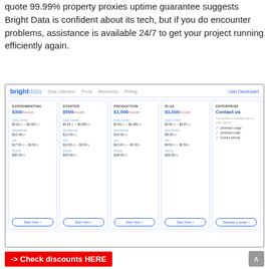quote 99.99% property proxies uptime guarantee suggests Bright Data is confident about its tech, but if you do encounter problems, assistance is available 24/7 to get your project running efficiently again.
[Figure (screenshot): Bright Data pricing page screenshot showing 5 plans: Experimenting ($300/month), Starter ($500/month), Production ($1,000/month), Plus ($3,000/month), and Enterprise (Contact us). Each plan shows Data Center, Residential, ISP, and Mobile pricing.]
-> Check discounts HERE